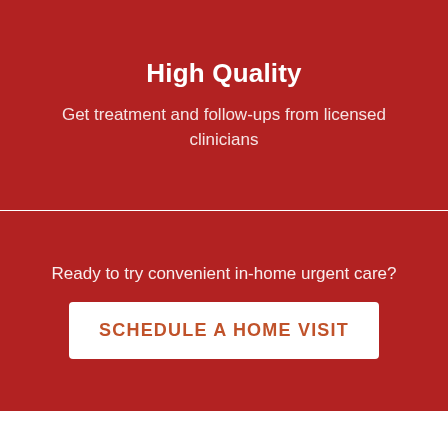High Quality
Get treatment and follow-ups from licensed clinicians
Ready to try convenient in-home urgent care?
SCHEDULE A HOME VISIT